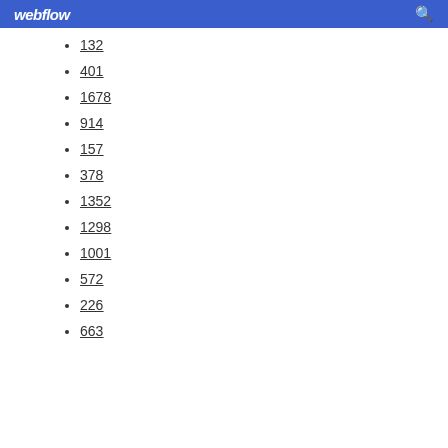webflow
132
401
1678
914
157
378
1352
1298
1001
572
226
663